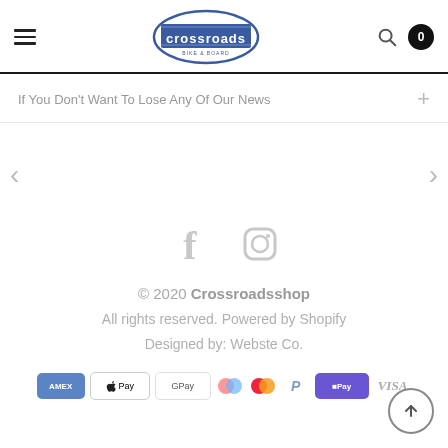Crossroads — navigation header with hamburger menu, logo, search, and cart (0)
If You Don't Want To Lose Any Of Our News
[Figure (illustration): Facebook and Instagram social media icons in light gray]
© 2020 Crossroadsshop
All rights reserved. Powered by Shopify
Designed by: Webste Co.
[Figure (infographic): Payment method badges: Amex, Apple Pay, Google Pay, two circle logos (Klarna/Shop Pay?), Mastercard, PayPal, Shop Pay, Visa]